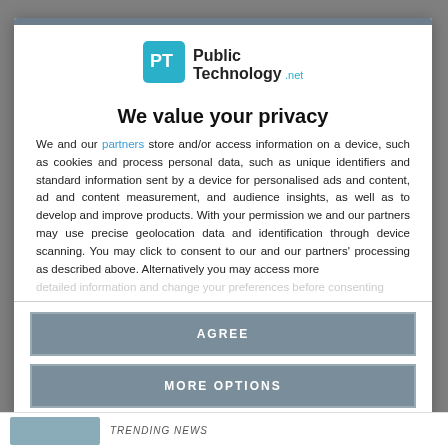[Figure (logo): PublicTechnology.net logo with teal speech bubble icon and text]
We value your privacy
We and our partners store and/or access information on a device, such as cookies and process personal data, such as unique identifiers and standard information sent by a device for personalised ads and content, ad and content measurement, and audience insights, as well as to develop and improve products. With your permission we and our partners may use precise geolocation data and identification through device scanning. You may click to consent to our and our partners' processing as described above. Alternatively you may access more detailed information...
AGREE
MORE OPTIONS